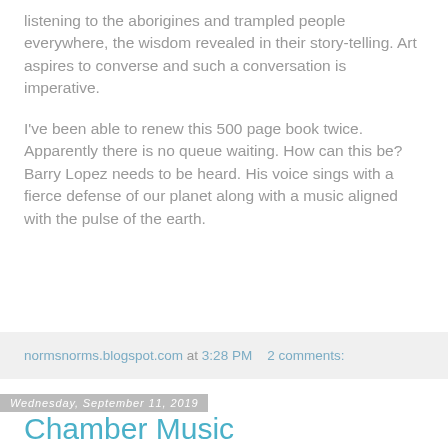listening to the aborigines and trampled people everywhere, the wisdom revealed in their story-telling. Art aspires to converse and such a conversation is imperative.
I've been able to renew this 500 page book twice. Apparently there is no queue waiting. How can this be? Barry Lopez needs to be heard. His voice sings with a fierce defense of our planet along with a music aligned with the pulse of the earth.
normsnorms.blogspot.com at 3:28 PM    2 comments:
Wednesday, September 11, 2019
Chamber Music